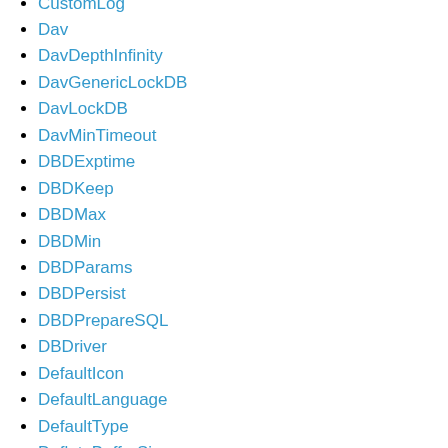CustomLog
Dav
DavDepthInfinity
DavGenericLockDB
DavLockDB
DavMinTimeout
DBDExptime
DBDKeep
DBDMax
DBDMin
DBDParams
DBDPersist
DBDPrepareSQL
DBDriver
DefaultIcon
DefaultLanguage
DefaultType
DeflateBufferSize
DeflateCompressionLevel
DeflateFilterNote
DeflateInflateLimitRequestBody
DeflateInflateRatioBurst
DeflateInflateRatioLimit
DeflateMemLevel
DeflateWindowSize